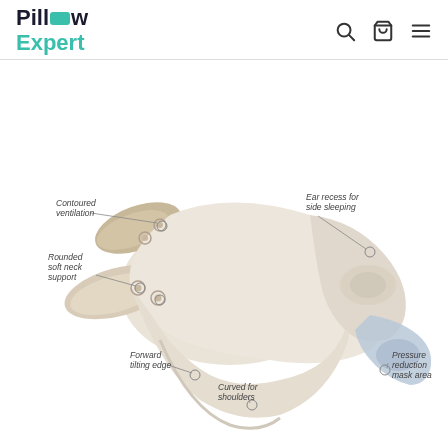[Figure (logo): Pillow Expert logo with teal pillow icon between 'Pill' and 'w', with 'Expert' in teal below]
[Figure (infographic): CPAP/specialty pillow product photo with annotation callouts: Contoured ventilation, Ear recess for side sleeping, Rounded soft neck support, Forward tilting edge, Curved for shoulders, Pressure reduction mask area]